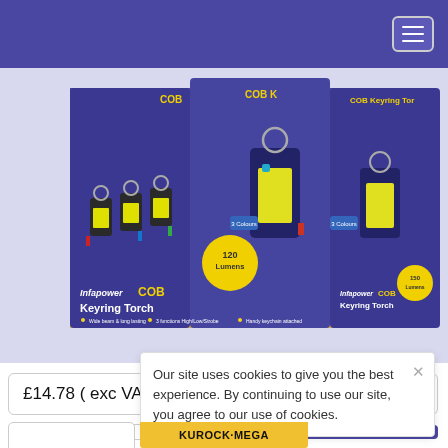Navigation header with hamburger menu
[Figure (photo): Infapower COB Keyring Torch product display box showing multiple keychains with yellow LED lights, 120 Lumens sticker, purple packaging]
£14.78 ( exc VAT)
BUY NOW
Our site uses cookies to give you the best experience. By continuing to use our site, you agree to our use of cookies.
KUROCK·MEGA